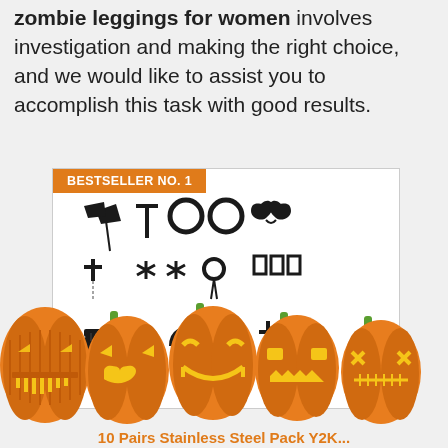zombie leggings for women involves investigation and making the right choice, and we would like to assist you to accomplish this task with good results.
[Figure (photo): Product card showing BESTSELLER NO. 1 badge above a white-background photo of multiple black gothic/punk earrings including axe shapes, cross shapes, chain earrings, and spiral designs arranged in rows.]
[Figure (illustration): Row of five carved Halloween jack-o-lantern pumpkins with orange bodies, green stems, and glowing yellow faces with different expressions, shown at the bottom of the page.]
10 Pairs Stainless Steel Pack Y2K...